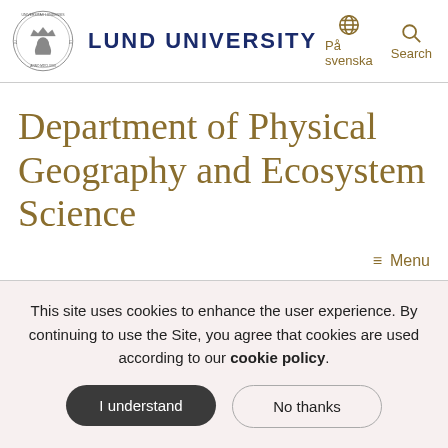Lund University
Department of Physical Geography and Ecosystem Science
≡ Menu
Start › Education › Basic courses › Geographical Information Systems, advanced
This site uses cookies to enhance the user experience. By continuing to use the Site, you agree that cookies are used according to our cookie policy.
I understand
No thanks